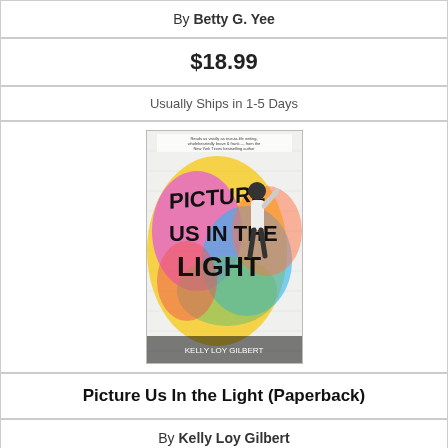By Betty G. Yee
$18.99
Usually Ships in 1-5 Days
[Figure (illustration): Book cover of 'Picture Us In the Light' by Kelly Loy Gilbert, showing a person spray-painting graffiti on a wall with colorful background]
Picture Us In the Light (Paperback)
By Kelly Loy Gilbert
$10.99
Usually Ships in 1-5 Days